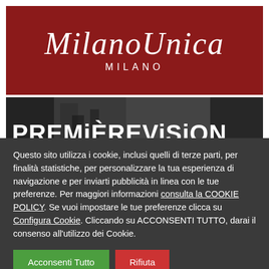[Figure (logo): MilanoUnica Milano logo — white script text on dark red background]
[Figure (photo): Black and white photo of an exhibition hall with large text 'PREMIÈREVISION' visible]
Questo sito utilizza i cookie, inclusi quelli di terze parti, per finalità statistiche, per personalizzare la tua esperienza di navigazione e per inviarti pubblicità in linea con le tue preferenze. Per maggiori informazioni consulta la COOKIE POLICY. Se vuoi impostare le tue preferenze clicca su Configura Cookie. Cliccando su ACCONSENTI TUTTO, darai il consenso all'utilizzo dei Cookie.
Acconsenti Tutto
Rifiuta